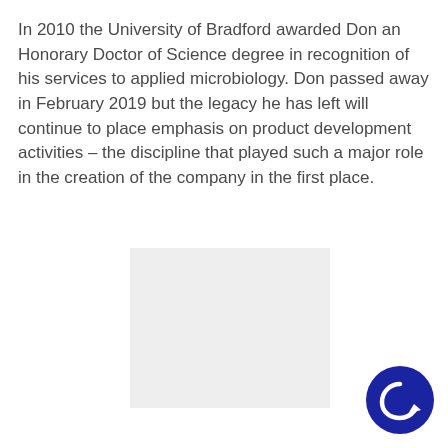In 2010 the University of Bradford awarded Don an Honorary Doctor of Science degree in recognition of his services to applied microbiology. Don passed away in February 2019 but the legacy he has left will continue to place emphasis on product development activities – the discipline that played such a major role in the creation of the company in the first place.
[Figure (photo): A light gray rectangular image placeholder in the center of the page]
[Figure (logo): A dark blue circular logo with a white circular arrow/refresh icon in the bottom right corner]